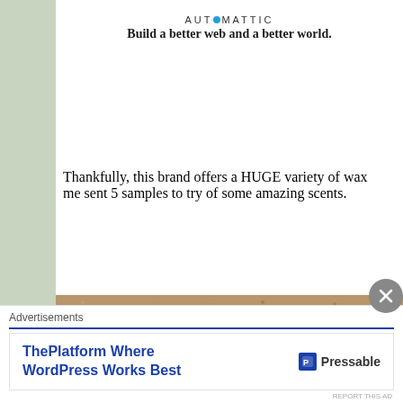AUTOMATTIC
Build a better web and a better world.
Thankfully, this brand offers a HUGE variety of wax me... sent 5 samples to try of some amazing scents.
[Figure (photo): Close-up photo of textured brown/tan carpet or fabric surface, with corner of a card or box visible at lower right.]
Advertisements
ThePlatform Where WordPress Works Best   Pressable